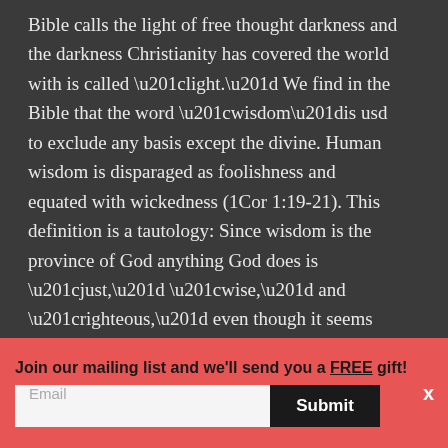Bible calls the light of free thought darkness and the darkness Christianity has covered the world with is called “light.” We find in the Bible that the word “wisdom”is usd to exclude any basis except the divine. Human wisdom is disparaged as foolishness and equated with wickedness (1Cor 1:19-21). This definition is a tautology: Since wisdom is the province of God anything God does is “just,” “wise,” and “righteous,” even though it seems wrong to humans. I could go on all day about just how wrong the Bible is about EVERYTHING.
Join our mailing list and we'll send you a FREE gift!